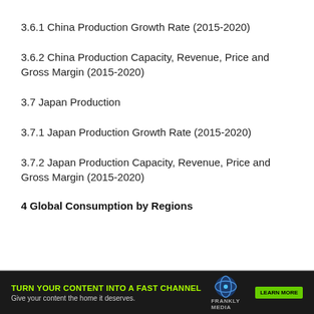3.6.1 China Production Growth Rate (2015-2020)
3.6.2 China Production Capacity, Revenue, Price and Gross Margin (2015-2020)
3.7 Japan Production
3.7.1 Japan Production Growth Rate (2015-2020)
3.7.2 Japan Production Capacity, Revenue, Price and Gross Margin (2015-2020)
4 Global Consumption by Regions
[Figure (other): Advertisement banner: TURN YOUR CONTENT INTO A FAST CHANNEL - Give your content the home it deserves. LEARN MORE. Frankly Media logo.]